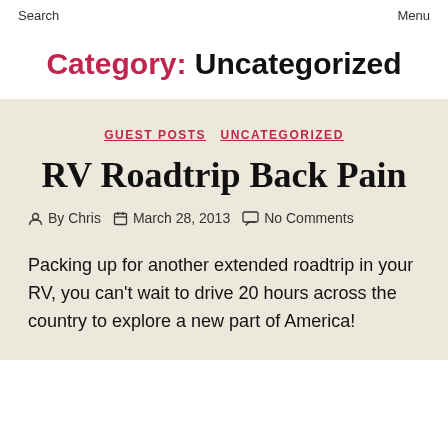Search   Menu
Category: Uncategorized
GUEST POSTS   UNCATEGORIZED
RV Roadtrip Back Pain
By Chris   March 28, 2013   No Comments
Packing up for another extended roadtrip in your RV, you can't wait to drive 20 hours across the country to explore a new part of America!